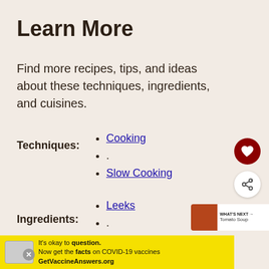Learn More
Find more recipes, tips, and ideas about these techniques, ingredients, and cuisines.
Techniques:
Cooking
.
Slow Cooking
Ingredients:
Leeks
.
Parsley
.
Potatoes
Cuisines:
American